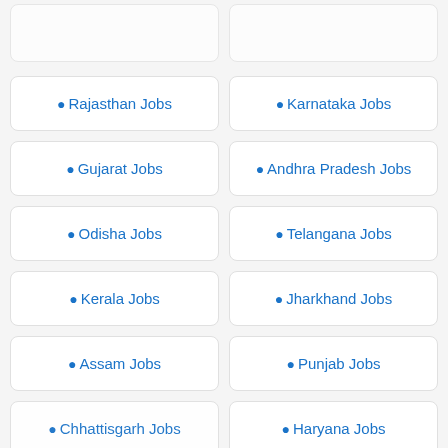Rajasthan Jobs
Karnataka Jobs
Gujarat Jobs
Andhra Pradesh Jobs
Odisha Jobs
Telangana Jobs
Kerala Jobs
Jharkhand Jobs
Assam Jobs
Punjab Jobs
Chhattisgarh Jobs
Haryana Jobs
Search for
01. Best High Return Investments
02. Top 3 Stocks To Buy
Yahoo! Search | Sponsored